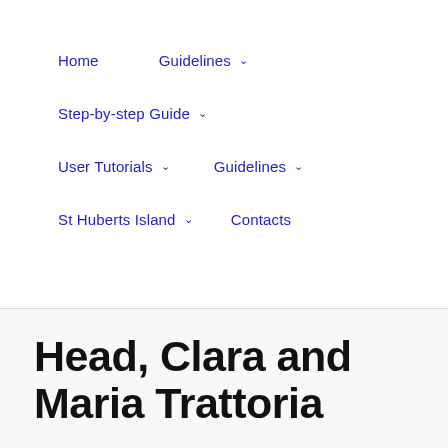Home | Guidelines ˅ | Step-by-step Guide ˅ | User Tutorials ˅ | Guidelines ˅ | St Huberts Island ˅ | Contacts
Head, Clara and Maria Trattoria